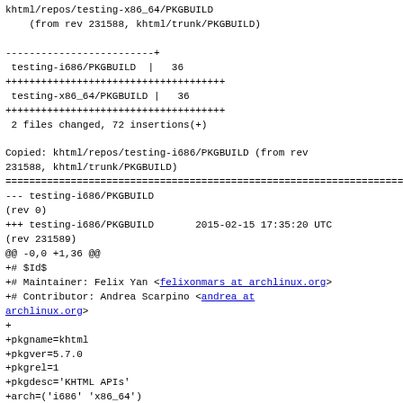khtml/repos/testing-x86_64/PKGBUILD
    (from rev 231588, khtml/trunk/PKGBUILD)
-------------------------+
 testing-i686/PKGBUILD  |  36
+++++++++++++++++++++++++++++++++++++
 testing-x86_64/PKGBUILD |  36
+++++++++++++++++++++++++++++++++++++
 2 files changed, 72 insertions(+)
Copied: khtml/repos/testing-i686/PKGBUILD (from rev
231588, khtml/trunk/PKGBUILD)
=======================================================================
--- testing-i686/PKGBUILD
(rev 0)
+++ testing-i686/PKGBUILD       2015-02-15 17:35:20 UTC
(rev 231589)
@@ -0,0 +1,36 @@
+# $Id$
+# Maintainer: Felix Yan <felixonmars at archlinux.org>
+# Contributor: Andrea Scarpino <andrea at
archlinux.org>
+
+pkgname=khtml
+pkgver=5.7.0
+pkgrel=1
+pkgdesc='KHTML APIs'
+arch=('i686' 'x86_64')
+url='https://projects.kde.org/projects/frameworks/khtml
+license=('LGPL')
+depends=(kziplib' 'kparts' 'kjs')